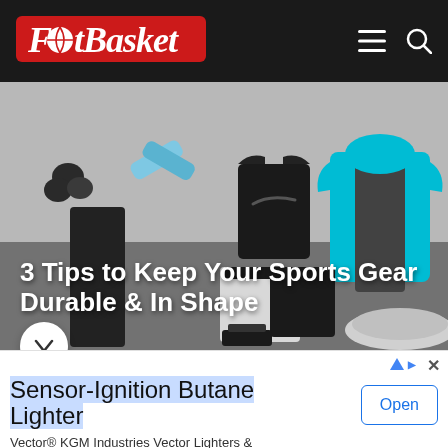[Figure (logo): FootBasket logo: white italic bold text on red rectangle background with basketball 'o' details]
[Figure (photo): Flat lay of sports gear including Nike apparel (tshirt, shorts, hoodie, pants), basketballs, earbuds, sports bra, and accessories on grey background]
3 Tips to Keep Your Sports Gear Durable & In Shape
[Figure (infographic): Advertisement banner: Sensor-Ignition Butane Lighter by Vector KGM Industries Vector Lighters & Butane, with Open button]